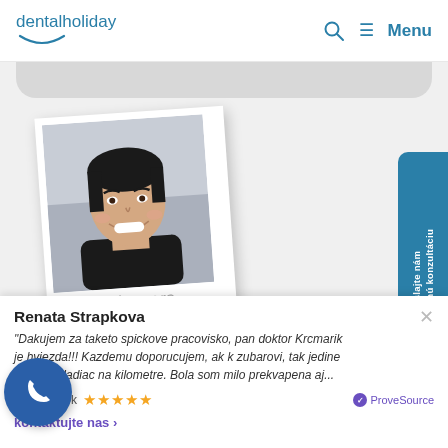dentalholiday  Q  Menu
[Figure (photo): Polaroid-style photo of a smiling young man with dark hair, labeled 'Veneers' below]
[Figure (infographic): Blue rounded sidebar tab on the right with Slovak text 'pošlajte nám bezplatnú konzultáciu' written vertically]
Renata Strapkova
"Dakujem za taketo spickove pracovisko, pan doktor Krcmarik je hviezda!!! Kazdemu doporucujem, ak k zubarovi, tak jedine sem, nehladiac na kilometre. Bola som milo prekvapena aj...
Facebook ★★★★★  ProveSource
kontaktujte nas  >